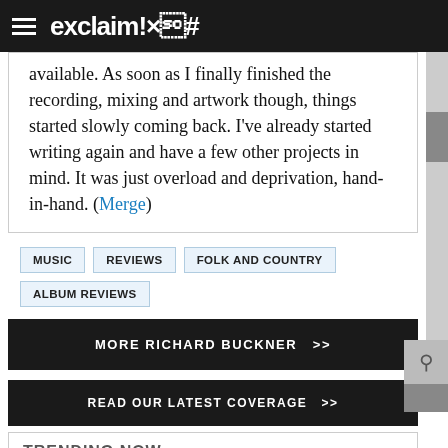exclaim!×¢#
available. As soon as I finally finished the recording, mixing and artwork though, things started slowly coming back. I've already started writing again and have a few other projects in mind. It was just overload and deprivation, hand-in-hand. (Merge)
MUSIC
REVIEWS
FOLK AND COUNTRY
ALBUM REVIEWS
MORE RICHARD BUCKNER  >>
READ OUR LATEST COVERAGE  >>
TRENDING NOW